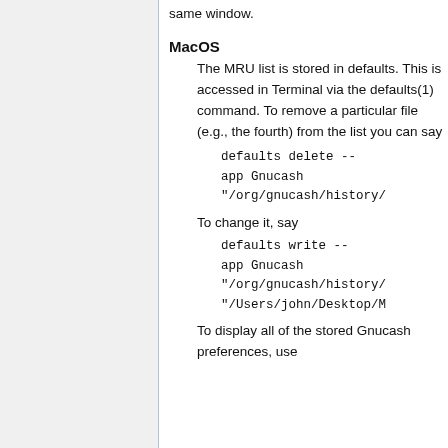same window.
MacOS
The MRU list is stored in defaults. This is accessed in Terminal via the defaults(1) command. To remove a particular file (e.g., the fourth) from the list you can say
defaults delete --app Gnucash "/org/gnucash/history/
To change it, say
defaults write --app Gnucash "/org/gnucash/history/ "/Users/john/Desktop/M
To display all of the stored Gnucash preferences, use